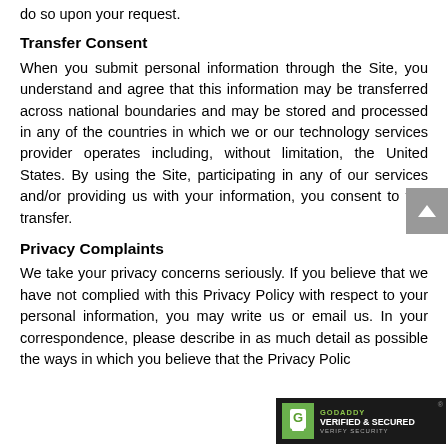do so upon your request.
Transfer Consent
When you submit personal information through the Site, you understand and agree that this information may be transferred across national boundaries and may be stored and processed in any of the countries in which we or our technology services provider operates including, without limitation, the United States. By using the Site, participating in any of our services and/or providing us with your information, you consent to this transfer.
Privacy Complaints
We take your privacy concerns seriously. If you believe that we have not complied with this Privacy Policy with respect to your personal information, you may write us or email us. In your correspondence, please describe in as much detail as possible the ways in which you believe that the Privacy Polic